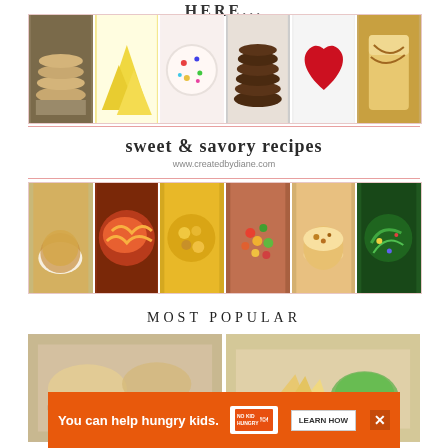HERE...
[Figure (photo): Collage of six cookie/dessert photos: stacked cookies, triangular pastries, frosted sugar cookies with sprinkles, stacked chocolate cookies, heart-shaped red dessert, caramel drizzled drink]
[Figure (photo): sweet & savory recipes brand banner with www.createdbydiane.com URL]
[Figure (photo): Collage of six savory food photos: grain bowl, pasta with sauce, pasta salad, colorful bean salad, cheesy soup, kale salad with lime]
MOST POPULAR
[Figure (photo): Two food photos side by side showing appetizers/dips with chips]
[Figure (photo): Advertisement banner: You can help hungry kids. NO KID HUNGRY. LEARN HOW]